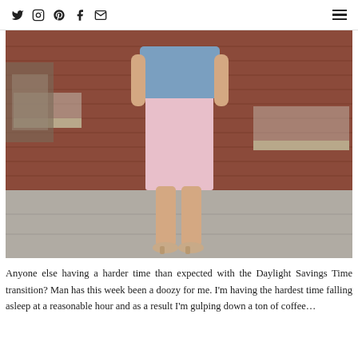Social icons: Twitter, Instagram, Pinterest, Facebook, Email | Hamburger menu
[Figure (photo): A woman walking in a pink pencil skirt and denim shirt, photographed from the torso down, in front of a red brick building on a sidewalk.]
Anyone else having a harder time than expected with the Daylight Savings Time transition? Man has this week been a doozy for me. I'm having the hardest time falling asleep at a reasonable hour and as a result I'm gulping down a ton of coffee…